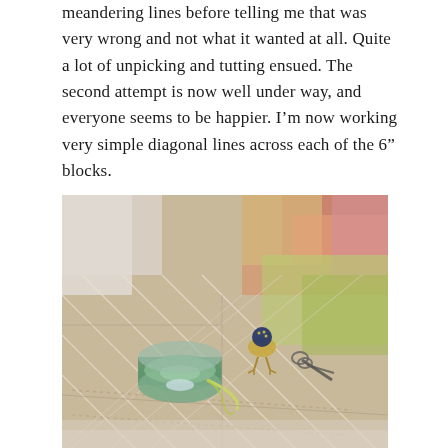meandering lines before telling me that was very wrong and not what it wanted at all. Quite a lot of unpicking and tutting ensued. The second attempt is now well under way, and everyone seems to be happier. I'm now working very simple diagonal lines across each of the 6" blocks.
[Figure (photo): Close-up photograph of a quilt laid flat, showing diagonal stitched lines across fabric blocks in muted beige and earth tones. A spool of green thread, a needle, and a small decorative bird-shaped pin cushion with a navy blue top sit on top of the quilt.]